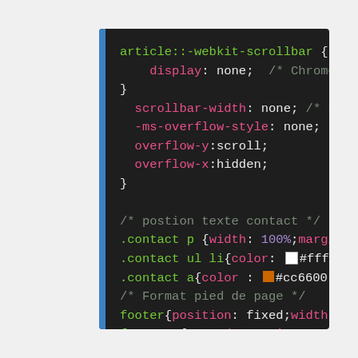[Figure (screenshot): Code editor screenshot showing CSS code with syntax highlighting on a dark background. The code includes article::-webkit-scrollbar, scrollbar-width, -ms-overflow-style, overflow-y, overflow-x rules, and contact/footer CSS selectors with color swatches.]